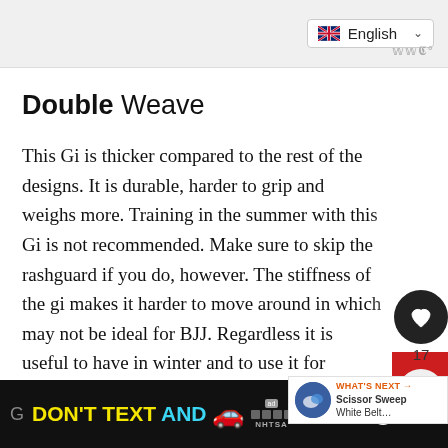English
Double Weave
This Gi is thicker compared to the rest of the designs. It is durable, harder to grip and weighs more. Training in the summer with this Gi is not recommended. Make sure to skip the rashguard if you do, however. The stiffness of the gi makes it harder to move around in which may not be ideal for BJJ. Regardless it is useful to have in winter and to use it for specialized training purposes.
DON'T TEXT AND [car emoji] ad NHTSA